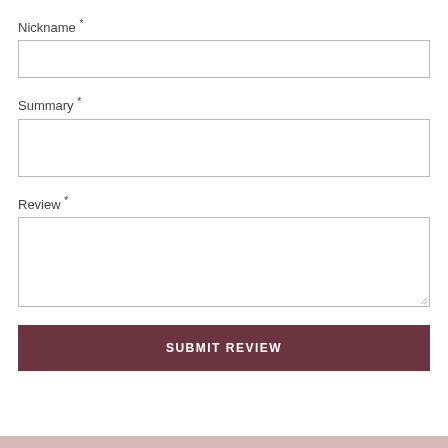Nickname *
Summary *
Review *
SUBMIT REVIEW